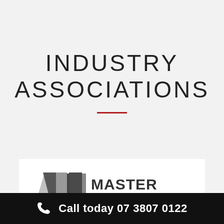INDUSTRY ASSOCIATIONS
[Figure (logo): Master Builders Association logo with geometric house/arrow shapes in grey tones and bold 'MASTER BUILDERS' text]
Call today 07 3807 0122